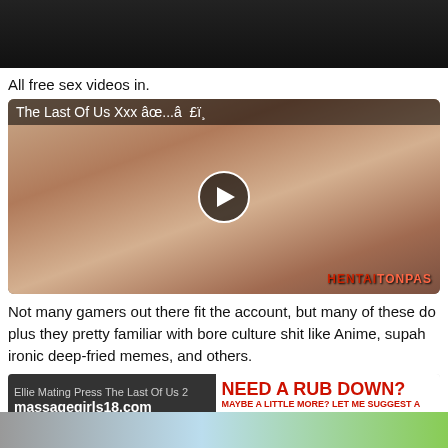[Figure (photo): Dark/black top strip image area]
All free sex videos in.
[Figure (screenshot): Video thumbnail titled 'The Last Of Us Xxx âœ...â £ï¸' showing animated/3D adult content with a play button overlay and HENTAI watermark]
Not many gamers out there fit the account, but many of these do plus they pretty familiar with bore culture shit like Anime, supah ironic deep-fried memes, and others.
[Figure (screenshot): Advertisement banner: left side shows 'Ellie Mating Press The Last Of Us 2' on massagegirls18.com, right side shows 'NEED A RUB DOWN? MAYBE A LITTLE MORE? LET ME SUGGEST A FEW GIRLS!']
[Figure (photo): Bottom strip image partially visible]